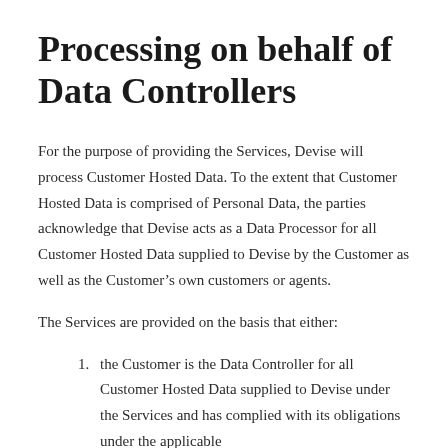Processing on behalf of Data Controllers
For the purpose of providing the Services, Devise will process Customer Hosted Data. To the extent that Customer Hosted Data is comprised of Personal Data, the parties acknowledge that Devise acts as a Data Processor for all Customer Hosted Data supplied to Devise by the Customer as well as the Customer’s own customers or agents.
The Services are provided on the basis that either:
the Customer is the Data Controller for all Customer Hosted Data supplied to Devise under the Services and has complied with its obligations under the applicable